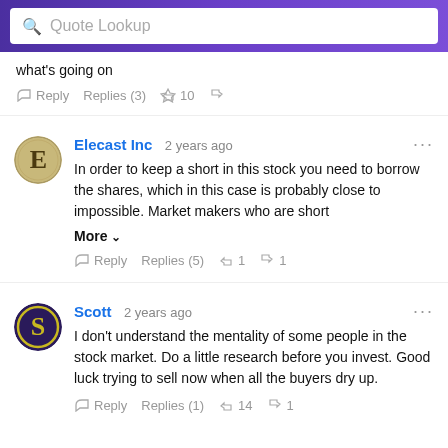Quote Lookup
what's going on
Reply  Replies (3)  10
Elecast Inc  2 years ago
In order to keep a short in this stock you need to borrow the shares, which in this case is probably close to impossible. Market makers who are short
More
Reply  Replies (5)  1  1
Scott  2 years ago
I don't understand the mentality of some people in the stock market. Do a little research before you invest. Good luck trying to sell now when all the buyers dry up.
Reply  Replies (1)  14  1